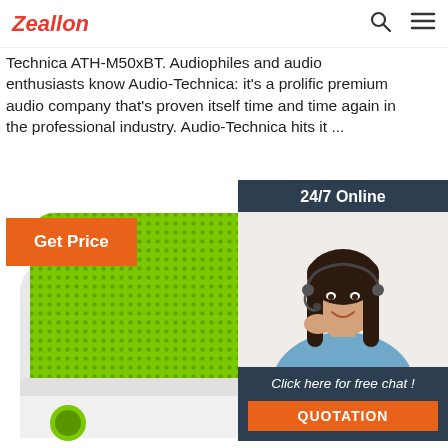Zeallon
Technica ATH-M50xBT. Audiophiles and audio enthusiasts know Audio-Technica: it's a prolific premium audio company that's proven itself time and time again in the professional industry. Audio-Technica hits it ...
Get Price
[Figure (photo): Chat widget showing '24/7 Online' banner, photo of a female customer service representative wearing a headset and smiling, 'Click here for free chat!' text, and an orange QUOTATION button]
[Figure (photo): Close-up product photo of a white and green square portable Bluetooth speaker with a mesh green grill top and a green circle button visible on the side]